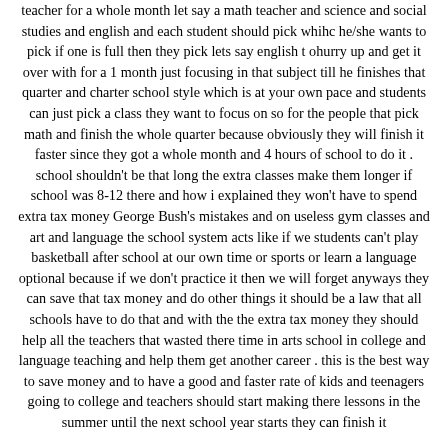teacher for a whole month let say a math teacher and science and social studies and english and each student should pick whihc he/she wants to pick if one is full then they pick lets say english t ohurry up and get it over with for a 1 month just focusing in that subject till he finishes that quarter and charter school style which is at your own pace and students can just pick a class they want to focus on so for the people that pick math and finish the whole quarter because obviously they will finish it faster since they got a whole month and 4 hours of school to do it . school shouldn't be that long the extra classes make them longer if school was 8-12 there and how i explained they won't have to spend extra tax money George Bush's mistakes and on useless gym classes and art and language the school system acts like if we students can't play basketball after school at our own time or sports or learn a language optional because if we don't practice it then we will forget anyways they can save that tax money and do other things it should be a law that all schools have to do that and with the the extra tax money they should help all the teachers that wasted there time in arts school in college and language teaching and help them get another career . this is the best way to save money and to have a good and faster rate of kids and teenagers going to college and teachers should start making there lessons in the summer until the next school year starts they can finish it